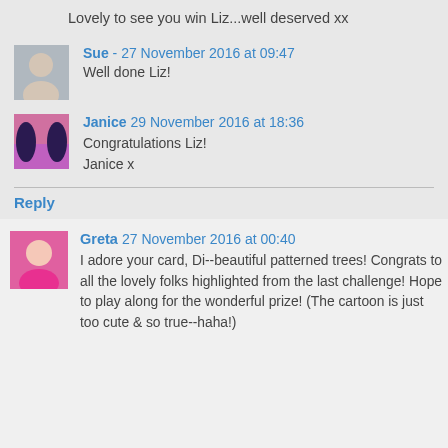Lovely to see you win Liz...well deserved xx
Sue - 27 November 2016 at 09:47
Well done Liz!
Janice 29 November 2016 at 18:36
Congratulations Liz!
Janice x
Reply
Greta 27 November 2016 at 00:40
I adore your card, Di--beautiful patterned trees! Congrats to all the lovely folks highlighted from the last challenge! Hope to play along for the wonderful prize! (The cartoon is just too cute & so true--haha!)